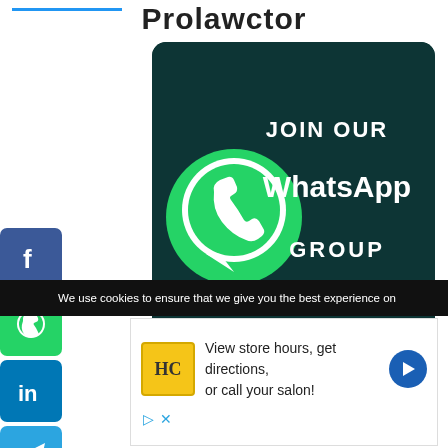Prolawctor
[Figure (illustration): WhatsApp group promotional banner with dark teal background showing WhatsApp logo and text: JOIN OUR WhatsApp GROUP]
Prolawctor- WhatsApp group
[Figure (illustration): Social media share icons column: Facebook (blue), WhatsApp (green), LinkedIn (blue), Telegram (blue), Plus/more (blue)]
Follow Us on Social Media
We use cookies to ensure that we give you the best experience on
[Figure (illustration): Advertisement: HC logo in yellow, text: View store hours, get directions, or call your salon!, navigation arrow icon]